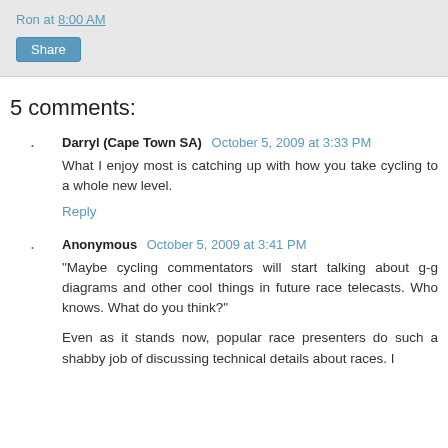Ron at 8:00 AM
Share
5 comments:
Darryl (Cape Town SA) October 5, 2009 at 3:33 PM
What I enjoy most is catching up with how you take cycling to a whole new level.
Reply
Anonymous October 5, 2009 at 3:41 PM
"Maybe cycling commentators will start talking about g-g diagrams and other cool things in future race telecasts. Who knows. What do you think?"
Even as it stands now, popular race presenters do such a shabby job of discussing technical details about races. I